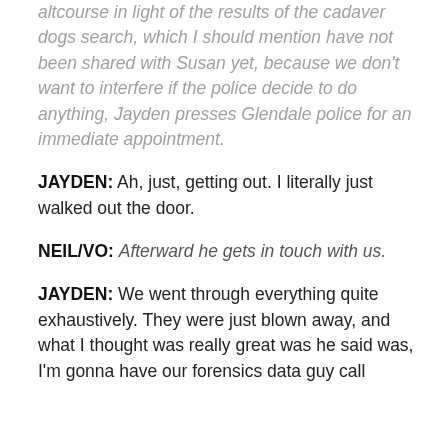altcourse in light of the results of the cadaver dogs search, which I should mention have not been shared with Susan yet, because we don't want to interfere if the police decide to do anything, Jayden presses Glendale police for an immediate appointment.
JAYDEN: Ah, just, getting out. I literally just walked out the door.
NEIL/VO: Afterward he gets in touch with us.
JAYDEN: We went through everything quite exhaustively. They were just blown away, and what I thought was really great was he said was, I'm gonna have our forensics data guy call